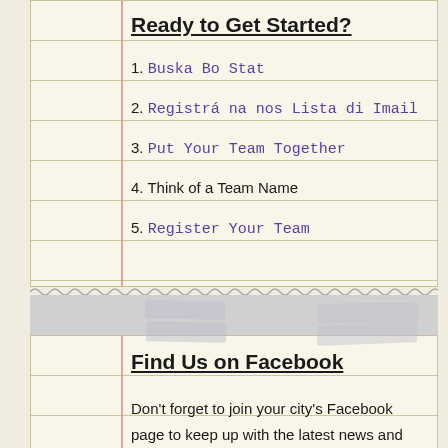Ready to Get Started?
1. Buska Bo Stat
2. Registrá na nos Lista di Imail
3. Put Your Team Together
4. Think of a Team Name
5. Register Your Team
Find Us on Facebook
Don't forget to join your city's Facebook page to keep up with the latest news and events.
• mas info